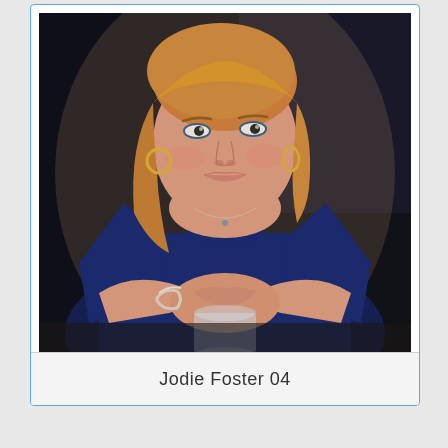[Figure (photo): Portrait photo of a woman with blonde hair, wearing a navy blue sleeveless dress and hoop earrings, with a bracelet, leaning forward with hands clasped, with a glass in front of her, against a dark blurred background.]
Jodie Foster 04